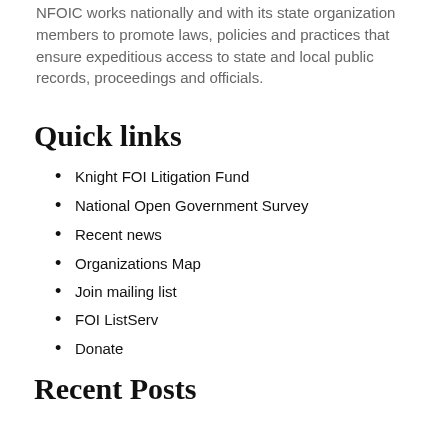NFOIC works nationally and with its state organization members to promote laws, policies and practices that ensure expeditious access to state and local public records, proceedings and officials.
Quick links
Knight FOI Litigation Fund
National Open Government Survey
Recent news
Organizations Map
Join mailing list
FOI ListServ
Donate
Recent Posts
2022 National FOI Summit, virtual
2021 Summit Agenda
Transparency organizations raise concerns about Uniform Law Commission's redaction initiative
Save the dates for the 2022 FOI Summit, and watch this space for updates
Deadline is extended to May 20 for NFOIC's fourth annual